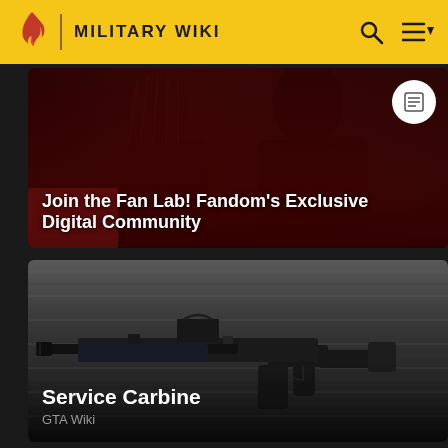MILITARY WIKI
[Figure (photo): Fan Lab promotional banner with two people shown with dark/red overlay and text 'Join the Fan Lab! Fandom's Exclusive Digital Community']
Join the Fan Lab! Fandom's Exclusive Digital Community
[Figure (photo): Service Carbine (rifle/assault weapon) leaning against metal corrugated shutters, dark industrial background]
Service Carbine
GTA Wiki